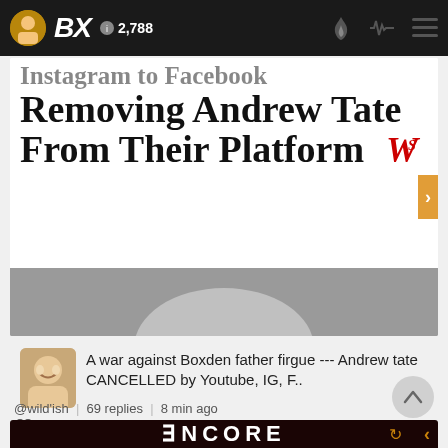BX | 2,788
[Figure (screenshot): News headline image: 'Instagram to Facebook Removing Andrew Tate From Their Platform' with WSJ logo]
A war against Boxden father firgue --- Andrew tate CANCELLED by Youtube, IG, F..
@wild'ish | 69 replies | 8 min ago
55 | by bxdiplomat | 13 hr
[Figure (screenshot): Bottom card showing ENCORE text on dark background]